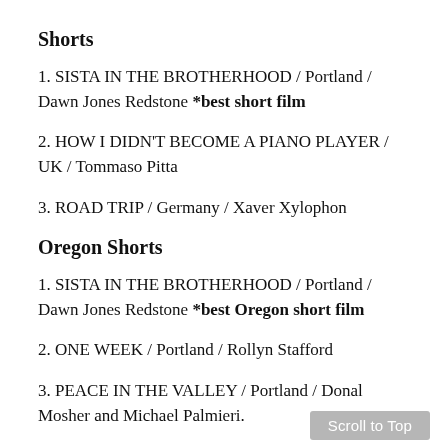Shorts
1. SISTA IN THE BROTHERHOOD / Portland / Dawn Jones Redstone *best short film
2. HOW I DIDN’T BECOME A PIANO PLAYER / UK / Tommaso Pitta
3. ROAD TRIP / Germany / Xaver Xylophon
Oregon Shorts
1. SISTA IN THE BROTHERHOOD / Portland / Dawn Jones Redstone *best Oregon short film
2. ONE WEEK / Portland / Rollyn Stafford
3. PEACE IN THE VALLEY / Portland / Donal Mosher and Michael Palmieri.
Drawing an audience of 38,000, the Portland International Film Festival (PIFF) is the biggest film